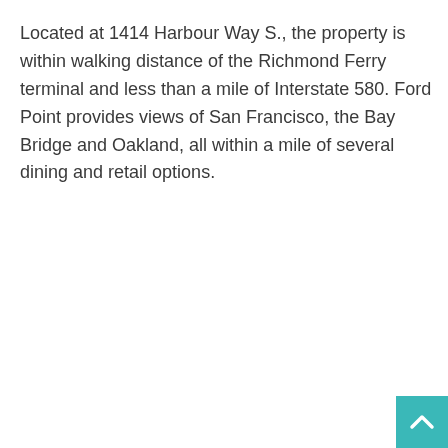Located at 1414 Harbour Way S., the property is within walking distance of the Richmond Ferry terminal and less than a mile of Interstate 580. Ford Point provides views of San Francisco, the Bay Bridge and Oakland, all within a mile of several dining and retail options.